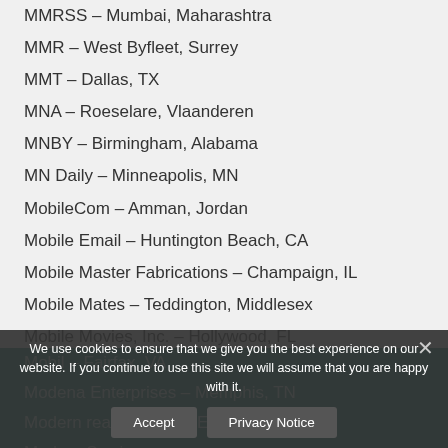MMRSS – Mumbai, Maharashtra
MMR – West Byfleet, Surrey
MMT – Dallas, TX
MNA – Roeselare, Vlaanderen
MNBY – Birmingham, Alabama
MN Daily – Minneapolis, MN
MobileCom – Amman, Jordan
Mobile Email – Huntington Beach, CA
Mobile Master Fabrications – Champaign, IL
Mobile Mates – Teddington, Middlesex
Mobile Movies, Inc. – Hollywood, FL
Mobility Scooters – Nacogdoches, TX
Mobility Technologies – Wayne, PA
Mobil – Fairfax, VA
Modena Enterprises – Memphis, TN
Modern real estate – DENVER, CO
Modern Sewing – ...
We use cookies to ensure that we give you the best experience on our website. If you continue to use this site we will assume that you are happy with it.
Accept | Privacy Notice